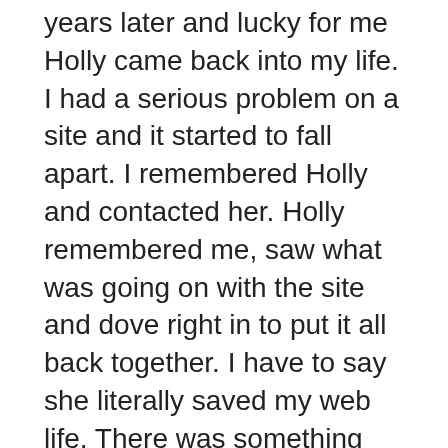years later and lucky for me Holly came back into my life. I had a serious problem on a site and it started to fall apart. I remembered Holly and contacted her. Holly remembered me, saw what was going on with the site and dove right in to put it all back together. I have to say she literally saved my web life. There was something else though that Holly did for me. She gave me so many more possibilities for me to be creative and more artistic with how I wanted to use my site. She installed ways for me to customize what I do with my work. I am still working on the site, but it is wonderful to work on and I love what Holly did for me. My KathyAnneWhite.com site also benefitted from Holly's working with me. There were things I wanted to change and she jumped right in a straightened it out. She is incredible.
Holly creates art with her website designs and with her artwork. I'll let her tell you what she has done and where she is now. And then I will say if you ever are looking for